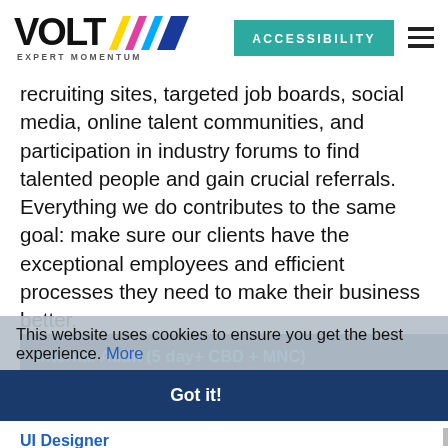VOLT EXPERT MOMENTUM — ACCESSIBILITY
recruiting sites, targeted job boards, social media, online talent communities, and participation in industry forums to find talented people and gain crucial referrals. Everything we do contributes to the same goal: make sure our clients have the exceptional employees and efficient processes they need to make their business better.
This website uses cookies to ensure you get the best experience. More
Got it!
Internal Audit (5 day+ CBD + MNC)
Singapore
S$4000 - S$5500 per month + AWS + Bonus
UI Designer
Singapore